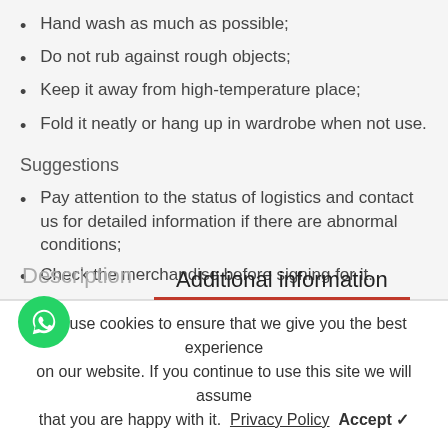Hand wash as much as possible;
Do not rub against rough objects;
Keep it away from high-temperature place;
Fold it neatly or hang up in wardrobe when not use.
Suggestions
Pay attention to the status of logistics and contact us for detailed information if there are abnormal conditions;
Check the merchandise before signing for it.
Description    Additional information
We use cookies to ensure that we give you the best experience on our website. If you continue to use this site we will assume that you are happy with it.  Privacy Policy  Accept ✓